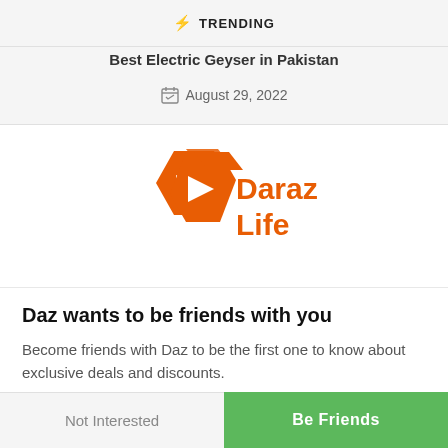⚡ TRENDING
Best Electric Geyser in Pakistan
August 29, 2022
[Figure (logo): Daraz Life logo — orange hexagon shape with a white play triangle inside, next to bold orange text reading 'Daraz Life']
Daz wants to be friends with you
Become friends with Daz to be the first one to know about exclusive deals and discounts.
Not Interested
Be Friends